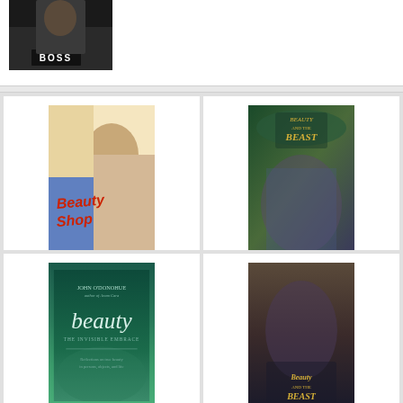[Figure (photo): Partial product image showing a person in black clothing with BOSS label visible]
[Figure (photo): Beauty Shop movie cover with woman holding hair dryer, red Beauty Shop text]
Beauty Shop
$3.99
★★★★★ (2,808)
[Figure (photo): Beauty And The Beast movie poster with golden title text, couple, and castle]
Beauty And The Beast
★★★★½ (1,106)
[Figure (photo): Book cover: beauty The Invisible Embrace by John O'Donohue on teal/green background]
[Figure (photo): Beauty and the Beast movie poster with couple dancing, golden title text]